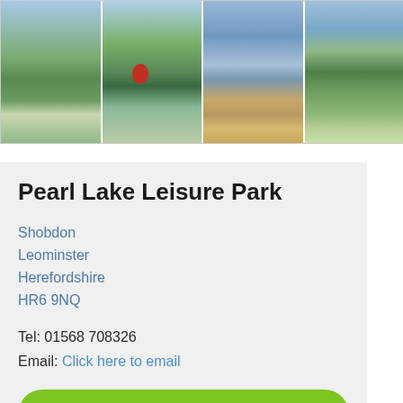[Figure (photo): Four landscape photos of Pearl Lake Leisure Park showing lakes, trees, reflections, and park grounds arranged in a horizontal strip]
Pearl Lake Leisure Park
Shobdon
Leominster
Herefordshire
HR6 9NQ
Tel: 01568 708326
Email: Click here to email
Booking Enquiry